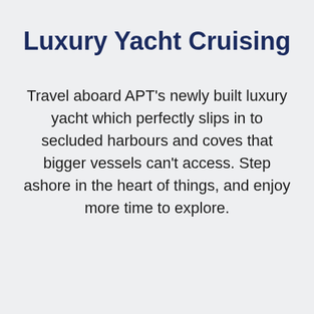Luxury Yacht Cruising
Travel aboard APT's newly built luxury yacht which perfectly slips in to secluded harbours and coves that bigger vessels can't access. Step ashore in the heart of things, and enjoy more time to explore.